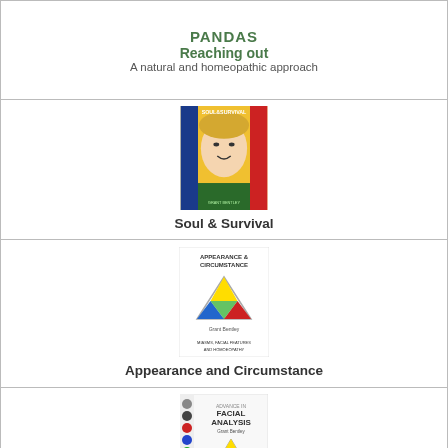PANDAS
Reaching out
A natural and homeopathic approach
[Figure (illustration): Book cover of 'Soul & Survival' showing a woman's face with colorful background]
Soul & Survival
[Figure (illustration): Book cover of 'Appearance and Circumstance' showing a triangular logo with colored sections, subtitled 'Miasms, Facial Features and Homoeopathy']
Appearance and Circumstance
[Figure (illustration): Book cover of 'Facial Analysis' showing colored circles on left side and triangular logo]